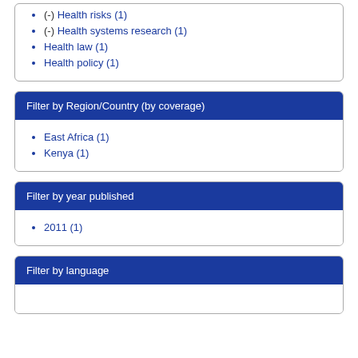(-) Health risks (1)
(-) Health systems research (1)
Health law (1)
Health policy (1)
Filter by Region/Country (by coverage)
East Africa (1)
Kenya (1)
Filter by year published
2011 (1)
Filter by language